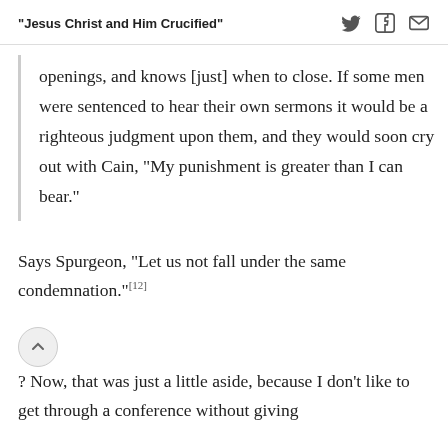"Jesus Christ and Him Crucified"
openings, and knows [just] when to close. If some men were sentenced to hear their own sermons it would be a righteous judgment upon them, and they would soon cry out with Cain, “My punishment is greater than I can bear.”
Says Spurgeon, “Let us not fall under the same condemnation.”[12]
C‹›? Now, that was just a little aside, because I don’t like to get through a conference without giving